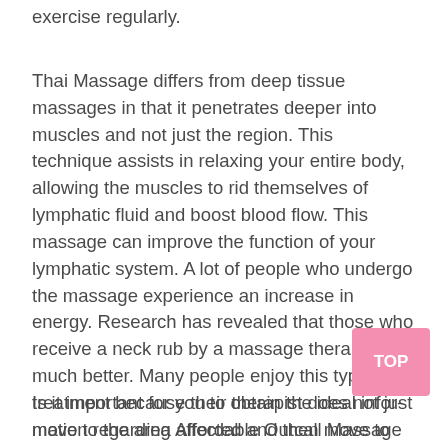exercise regularly.
Thai Massage differs from deep tissue massages in that it penetrates deeper into muscles and not just the region. This technique assists in relaxing your entire body, allowing the muscles to rid themselves of lymphatic fluid and boost blood flow. This massage can improve the function of your lymphatic system. A lot of people who undergo the massage experience an increase in energy. Research has revealed that those who receive a neck rub by a massage therapist feel much better. Many people enjoy this type of treatment because their therapist does not just move to the area affected and then move to the center of the room, rubbing the entire body.
Is it important for you to obtain the ideal information regarding Affordable Outcall Massage 10170 ?